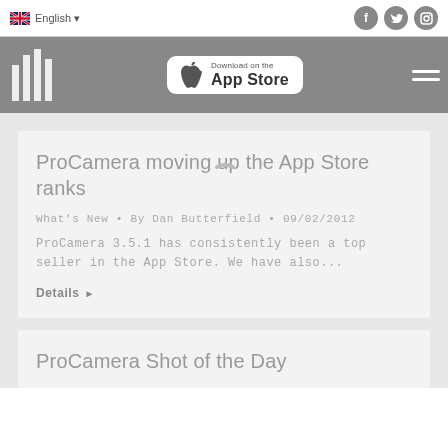English | Social icons: Facebook, Twitter, Instagram
[Figure (screenshot): Navigation bar with vertical bar logo, App Store download button, and hamburger menu on grey background]
ProCamera moving up the App Store ranks
What's New • By Dan Butterfield • 09/02/2012
ProCamera 3.5.1 has consistently been a top seller in the App Store. We have also...
Details ▶
ProCamera Shot of the Day